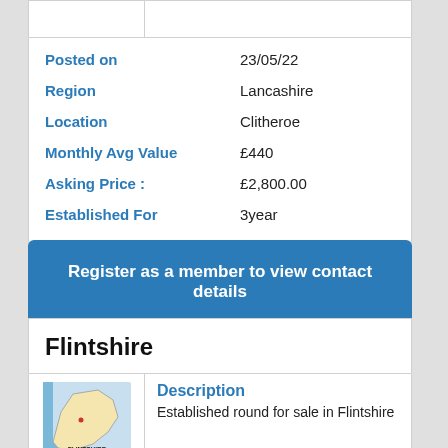| Field | Value |
| --- | --- |
| Posted on | 23/05/22 |
| Region | Lancashire |
| Location | Clitheroe |
| Monthly Avg Value | £440 |
| Asking Price : | £2,800.00 |
| Established For | 3year |
Register as a member to view contact details
Flintshire
[Figure (map): Map of Flintshire region with FLINTSHIRE label]
Description
Established round for sale in Flintshire